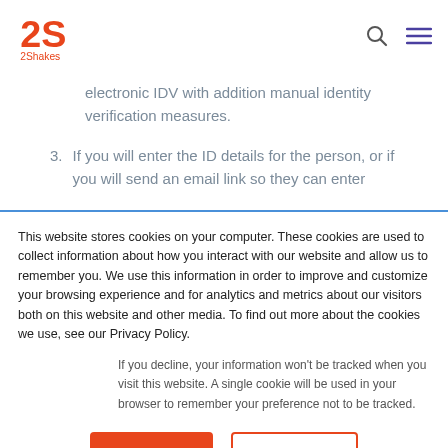[Figure (logo): 2Shakes company logo — orange/red stylized '2S' above text '2Shakes']
electronic IDV with addition manual identity verification measures.
3. If you will enter the ID details for the person, or if you will send an email link so they can enter
This website stores cookies on your computer. These cookies are used to collect information about how you interact with our website and allow us to remember you. We use this information in order to improve and customize your browsing experience and for analytics and metrics about our visitors both on this website and other media. To find out more about the cookies we use, see our Privacy Policy.
If you decline, your information won't be tracked when you visit this website. A single cookie will be used in your browser to remember your preference not to be tracked.